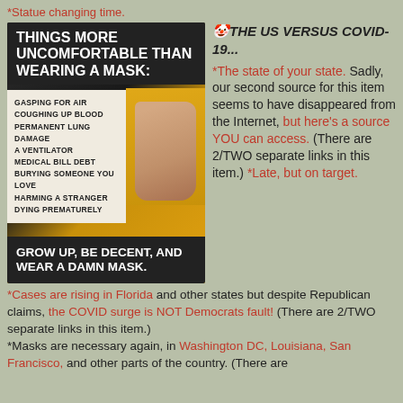*Statue changing time.
[Figure (photo): Photo of a person holding a surgical face mask with text overlay: 'THINGS MORE UNCOMFORTABLE THAN WEARING A MASK:' followed by a list including GASPING FOR AIR, COUGHING UP BLOOD, PERMANENT LUNG DAMAGE, A VENTILATOR, MEDICAL BILL DEBT, BURYING SOMEONE YOU LOVE, HARMING A STRANGER, DYING PREMATURELY. Bottom text: GROW UP, BE DECENT, AND WEAR A DAMN MASK.]
🤡THE US VERSUS COVID-19... *The state of your state. Sadly, our second source for this item seems to have disappeared from the Internet, but here's a source YOU can access. (There are 2/TWO separate links in this item.) *Late, but on target.
*Cases are rising in Florida and other states but despite Republican claims, the COVID surge is NOT Democrats fault! (There are 2/TWO separate links in this item.)
*Masks are necessary again, in Washington DC, Louisiana, San Francisco, and other parts of the country. (There are